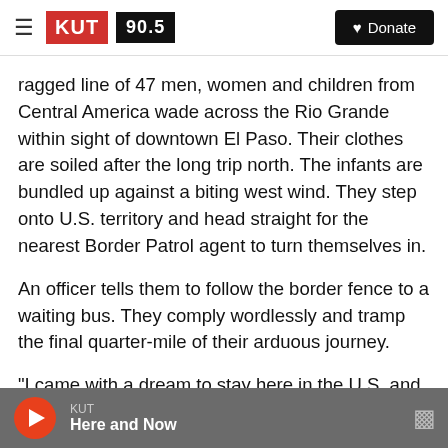KUT 90.5 | Donate
ragged line of 47 men, women and children from Central America wade across the Rio Grande within sight of downtown El Paso. Their clothes are soiled after the long trip north. The infants are bundled up against a biting west wind. They step onto U.S. territory and head straight for the nearest Border Patrol agent to turn themselves in.
An officer tells them to follow the border fence to a waiting bus. They comply wordlessly and tramp the final quarter-mile of their arduous journey.
"I came with a dream to stay here in the U.S. and
KUT | Here and Now